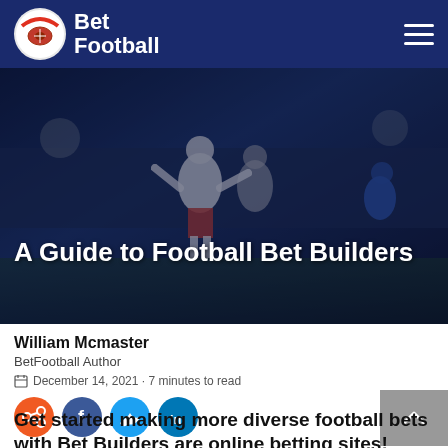Bet Football
[Figure (photo): Football players on stadium pitch with crowd and stadium lights in background, dramatic blue-toned night scene]
A Guide to Football Bet Builders
William Mcmaster
BetFootball Author
December 14, 2021 · 7 minutes to read
[Figure (other): Social share icons: share (orange), Facebook (blue), Twitter (light blue), LinkedIn (dark blue); and a back-to-top button (grey arrow)]
Get started making more diverse football bets with Bet Builders are online betting sites!